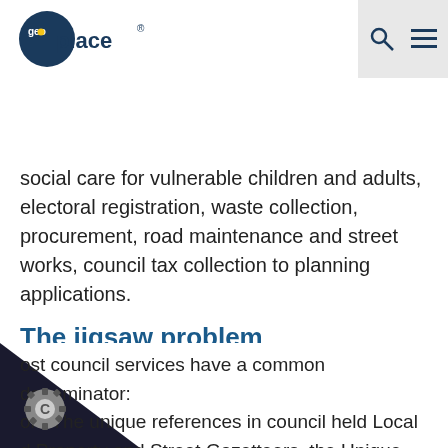GeoPlace
social care for vulnerable children and adults, electoral registration, waste collection, procurement, road maintenance and street works, council tax collection to planning applications.
The jigsaw problem
What if there was a way of bringing this information together so that it can be analysed to provide more effective services? To save officer time in front and back office processes? To understand fraud and error? To provide insight into social problems?
ost council services have a common denominator: on. The unique references in council held Local d Property and Street Gazetteers, the Unique